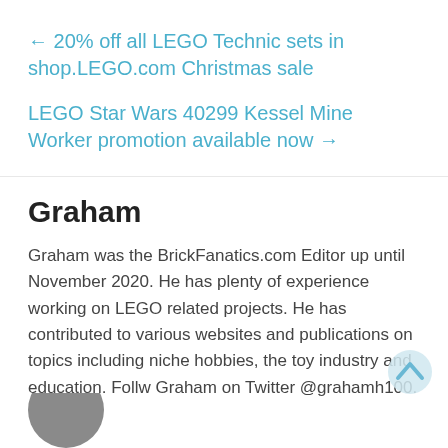← 20% off all LEGO Technic sets in shop.LEGO.com Christmas sale
LEGO Star Wars 40299 Kessel Mine Worker promotion available now →
Graham
Graham was the BrickFanatics.com Editor up until November 2020. He has plenty of experience working on LEGO related projects. He has contributed to various websites and publications on topics including niche hobbies, the toy industry and education. Follw Graham on Twitter @grahamh100.
[Figure (illustration): Partial view of a circular avatar/profile photo at the bottom left of the page]